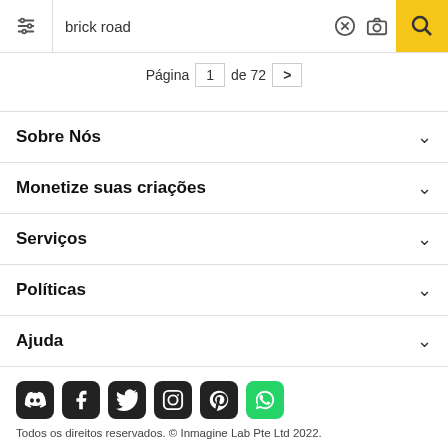[Figure (screenshot): Search bar with filter icon, 'brick road' query text, clear button, camera button, and yellow search button]
Página 1 de 72 >
Sobre Nós
Monetize suas criações
Serviços
Políticas
Ajuda
[Figure (other): Social media icons row: Discord, Facebook, Twitter, Instagram, Pinterest, WhatsApp]
Todos os direitos reservados. © Inmagine Lab Pte Ltd 2022.